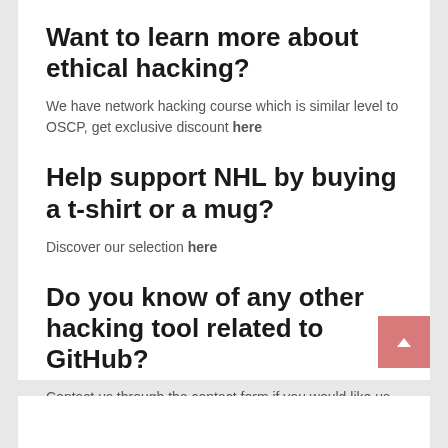Want to learn more about ethical hacking?
We have network hacking course which is similar level to OSCP, get exclusive discount here
Help support NHL by buying a t-shirt or a mug?
Discover our selection here
Do you know of any other hacking tool related to GitHub?
Contact us through the contact form if you would like us to review other GitHub ethical hacking tools.